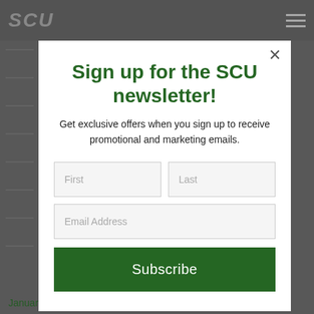SCU
Sign up for the SCU newsletter!
Get exclusive offers when you sign up to receive promotional and marketing emails.
January 2015